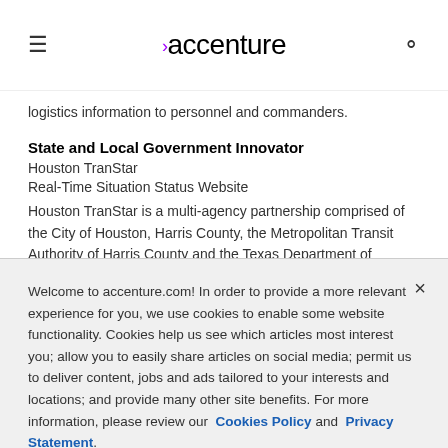accenture
logistics information to personnel and commanders.
State and Local Government Innovator
Houston TranStar
Real-Time Situation Status Website
Houston TranStar is a multi-agency partnership comprised of the City of Houston, Harris County, the Metropolitan Transit Authority of Harris County and the Texas Department of Transportation-Houston District.
Welcome to accenture.com! In order to provide a more relevant experience for you, we use cookies to enable some website functionality. Cookies help us see which articles most interest you; allow you to easily share articles on social media; permit us to deliver content, jobs and ads tailored to your interests and locations; and provide many other site benefits. For more information, please review our Cookies Policy and Privacy Statement.
Cookie Settings